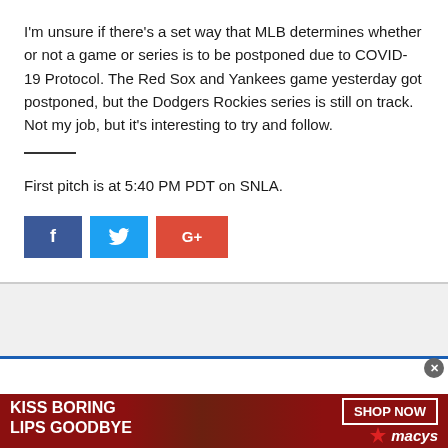I'm unsure if there's a set way that MLB determines whether or not a game or series is to be postponed due to COVID-19 Protocol. The Red Sox and Yankees game yesterday got postponed, but the Dodgers Rockies series is still on track. Not my job, but it's interesting to try and follow.
First pitch is at 5:40 PM PDT on SNLA.
[Figure (screenshot): Social media share buttons: Facebook (blue), Twitter (light blue), Google+ (red)]
[Figure (photo): Macy's advertisement banner: 'KISS BORING LIPS GOODBYE' with image of woman with red lips, and 'SHOP NOW' button with Macy's star logo on dark red background]